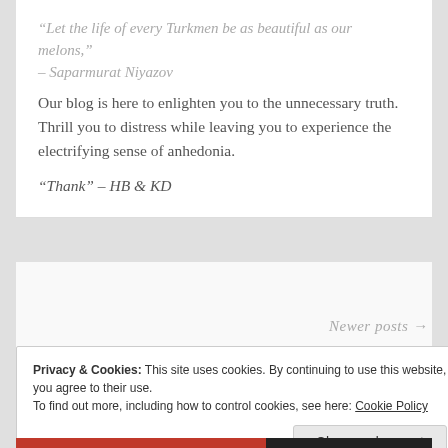“Let the life of every Turkmen be as beautiful as our melons,” – Saparmurat Niyazov
Our blog is here to enlighten you to the unnecessary truth. Thrill you to distress while leaving you to experience the electrifying sense of anhedonia.
“Thank” – HB & KD
Newer posts →
Privacy & Cookies: This site uses cookies. By continuing to use this website, you agree to their use.
To find out more, including how to control cookies, see here: Cookie Policy
Close and accept